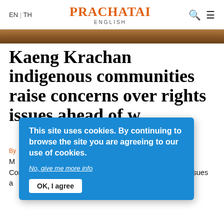EN | TH   PRACHATAI ENGLISH
Kaeng Krachan indigenous communities raise concerns over rights issues ahead of w[orld heritage] nomination
M[ember] Karen communities living n[ear] Complex have raised c[oncerns about] munity rights issues a[head of Thailand']s 4th nomination of the fo[rest for UNESCO] s in 2021.
This site uses cookies. By continuing to browse the site you are agreeing to our use of cookies. No, give me more info. OK, I agree